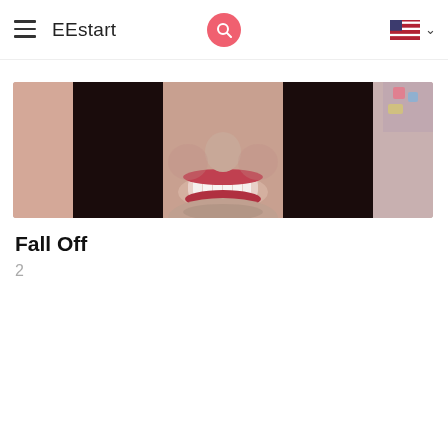EEstart
[Figure (photo): Close-up photo of a woman's face, cropped to show mouth area with dark hair, smiling, colorful fabric visible in background]
Fall Off
2